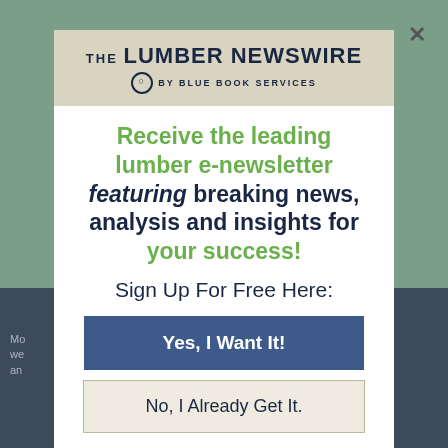[Figure (screenshot): Modal popup overlay on a green/slate webpage background. The modal contains The Lumber Newswire logo, a promotional headline, and two call-to-action buttons.]
THE LUMBER NEWSWIRE BY BLUE BOOK SERVICES
Receive the leading lumber e-newsletter featuring breaking news, analysis and insights for your success!
Sign Up For Free Here:
Yes, I Want It!
No, I Already Get It.